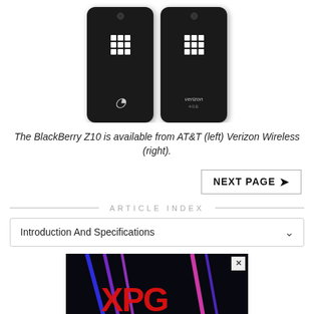[Figure (photo): Two BlackBerry Z10 smartphones showing their backs — left one has AT&T branding, right one has Verizon Wireless and LTE branding. Both are black with the BlackBerry logo on the back.]
The BlackBerry Z10 is available from AT&T (left) Verizon Wireless (right).
NEXT PAGE →
ARTICLE INDEX
Introduction And Specifications
[Figure (photo): Advertisement banner with a dark background showing colorful neon streaks (blue, purple, pink) and a red XPG logo text on a black background.]